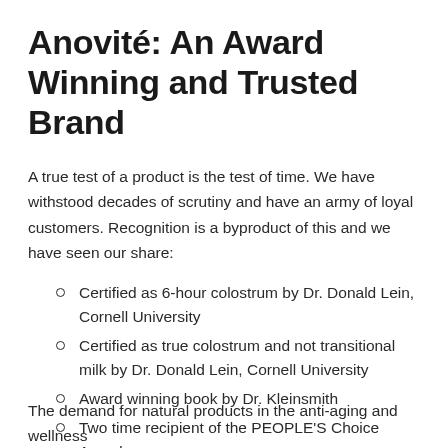Anovité: An Award Winning and Trusted Brand
A true test of a product is the test of time. We have withstood decades of scrutiny and have an army of loyal customers. Recognition is a byproduct of this and we have seen our share:
Certified as 6-hour colostrum by Dr. Donald Lein, Cornell University
Certified as true colostrum and not transitional milk by Dr. Donald Lein, Cornell University
Award winning book by Dr. Kleinsmith
Two time recipient of the PEOPLE'S Choice Award
Recipient of the Readers Choice Award
The demand for natural products in the anti-aging and wellness